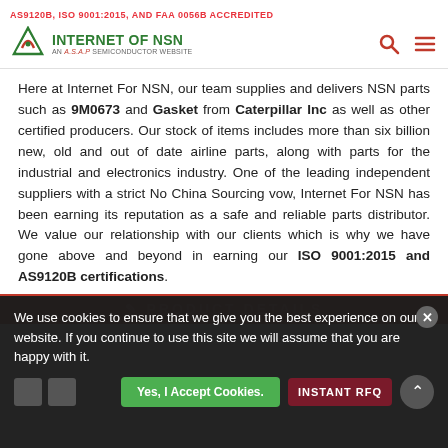AS9120B, ISO 9001:2015, AND FAA 0056B ACCREDITED
[Figure (logo): Internet of NSN logo — green arrow icon with text INTERNET OF NSN and subtitle AN A.S.A.P SEMICONDUCTOR WEBSITE]
Here at Internet For NSN, our team supplies and delivers NSN parts such as 9M0673 and Gasket from Caterpillar Inc as well as other certified producers. Our stock of items includes more than six billion new, old and out of date airline parts, along with parts for the industrial and electronics industry. One of the leading independent suppliers with a strict No China Sourcing vow, Internet For NSN has been earning its reputation as a safe and reliable parts distributor. We value our relationship with our clients which is why we have gone above and beyond in earning our ISO 9001:2015 and AS9120B certifications.
PRODUCT DETAILS
We use cookies to ensure that we give you the best experience on our website. If you continue to use this site we will assume that you are happy with it.